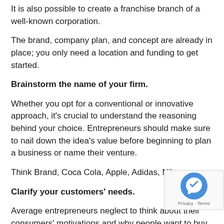It is also possible to create a franchise branch of a well-known corporation.
The brand, company plan, and concept are already in place; you only need a location and funding to get started.
Brainstorm the name of your firm.
Whether you opt for a conventional or innovative approach, it's crucial to understand the reasoning behind your choice. Entrepreneurs should make sure to nail down the idea's value before beginning to plan a business or name their venture.
Think Brand, Coca Cola, Apple, Adidas, Nike.
Clarify your customers' needs.
Average entrepreneurs neglect to think about their consumers' motivations and why people want to buy from or hire them.
Highly motivated entrepreneurs fall in love with their clients.